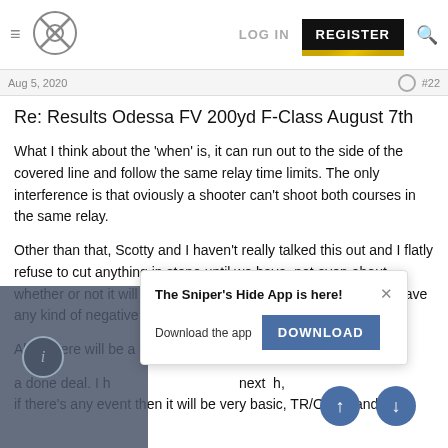LOG IN  REGISTER
Aug 5, 2020  #22
Re: Results Odessa FV 200yd F-Class August 7th
What I think about the 'when' is, it can run out to the side of the covered line and follow the same relay time limits. The only interference is that oviously a shooter can't shoot both courses in the same relay.
Other than that, Scotty and I haven't really talked this out and I flatly refuse to cut anything in stone until we have, not even about whether or not it will even happen at all. I will not let this thing have any kind of negative impact on the main event.
Also, there will be a donation/fee, identical to the main, for the d
The Sniper's Hide App is here! Download the app  DOWNLOAD
a done deal. I h next h, if there's any event then it will be very basic, TR/Open, and